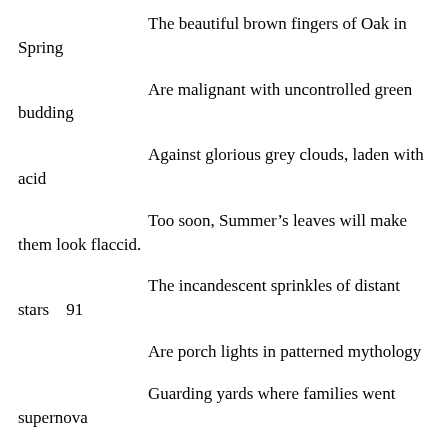The beautiful brown fingers of Oak in Spring
Are malignant with uncontrolled green budding
Against glorious grey clouds, laden with acid
Too soon, Summer’s leaves will make them look flaccid.
The incandescent sprinkles of distant stars    91
Are porch lights in patterned mythology
Guarding yards where families went supernova